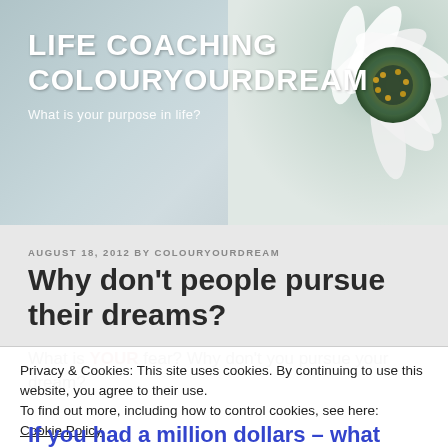[Figure (photo): Website header banner with a close-up photo of a white and yellow daisy flower on the right side, with a teal/grey gradient background on the left.]
LIFE COACHING COLOURYOURDREAM
What is your purpose in life?
AUGUST 18, 2012 BY COLOURYOURDREAM
Why don't people pursue their dreams?
What is YOUR fear? Why don't you pursue your dream?
Privacy & Cookies: This site uses cookies. By continuing to use this website, you agree to their use.
To find out more, including how to control cookies, see here:
Cookie Policy
If you had a million dollars – what would